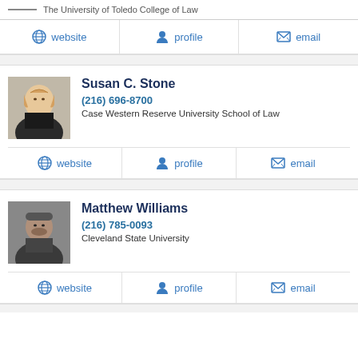The University of Toledo College of Law
website  profile  email
Susan C. Stone
(216) 696-8700
Case Western Reserve University School of Law
website  profile  email
Matthew Williams
(216) 785-0093
Cleveland State University
website  profile  email